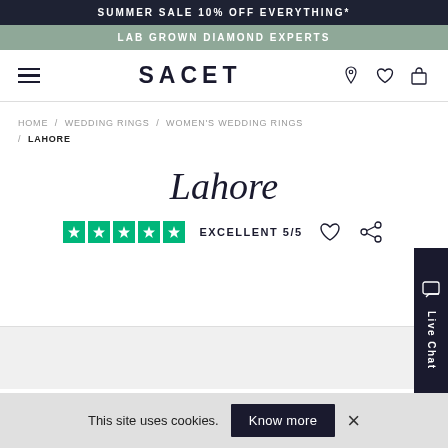SUMMER SALE 10% OFF EVERYTHING*
LAB GROWN DIAMOND EXPERTS
SACET
HOME / WEDDING RINGS / WOMEN'S WEDDING RINGS / LAHORE
Lahore
EXCELLENT 5/5
This site uses cookies.
Know more